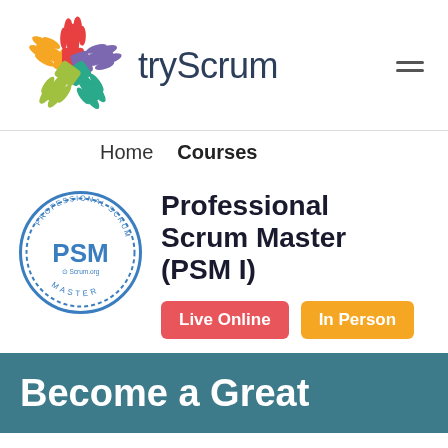[Figure (logo): tryScrum logo with colorful hand icons and brand name]
Home   Courses
[Figure (logo): Professional Scrum Master (PSM) badge from Scrum.org]
Professional Scrum Master (PSM I)
Live Online   In Person
Become a Great